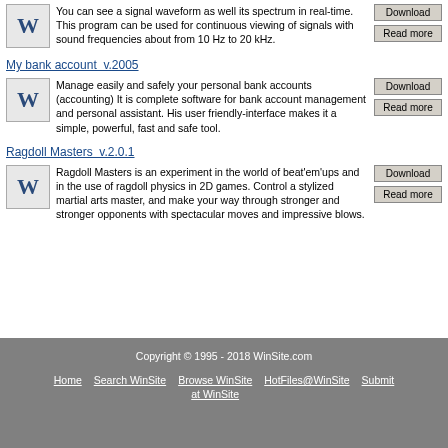You can see a signal waveform as well its spectrum in real-time. This program can be used for continuous viewing of signals with sound frequencies about from 10 Hz to 20 kHz.
My bank account  v.2005
Manage easily and safely your personal bank accounts (accounting) It is complete software for bank account management and personal assistant. His user friendly-interface makes it a simple, powerful, fast and safe tool.
Ragdoll Masters  v.2.0.1
Ragdoll Masters is an experiment in the world of beat'em'ups and in the use of ragdoll physics in 2D games. Control a stylized martial arts master, and make your way through stronger and stronger opponents with spectacular moves and impressive blows.
Copyright © 1995 - 2018 WinSite.com | Home | Search WinSite | Browse WinSite at WinSite | HotFiles@WinSite | Submit